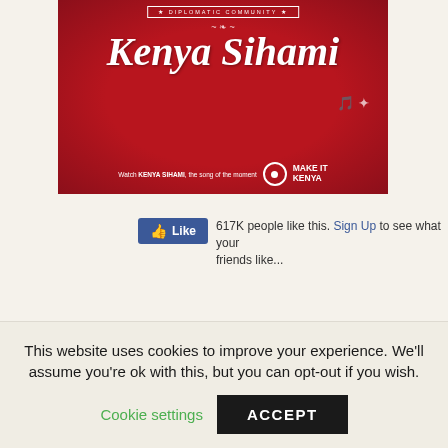[Figure (illustration): Red promotional banner for 'Kenya Sihami' with 'Diplomatic Community' badge at top, stylized text 'Kenya Sihami' in white, decorative ornamental elements, and at the bottom 'Watch KENYA SIHAMI, the song of the moment' with a 'MAKE IT KENYA' logo.]
[Figure (screenshot): Facebook Like button widget showing a blue 'Like' button with thumbs up icon, and text '617K people like this. Sign Up to see what your friends like.']
This website uses cookies to improve your experience. We'll assume you're ok with this, but you can opt-out if you wish.
Cookie settings   ACCEPT